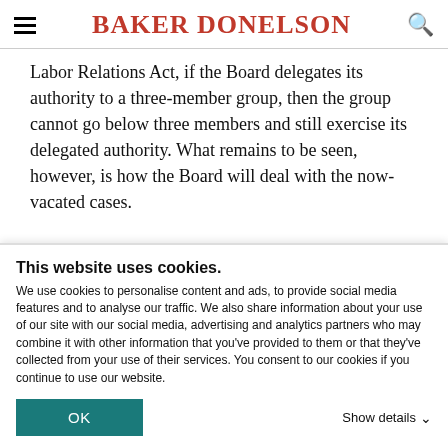BAKER DONELSON
Labor Relations Act, if the Board delegates its authority to a three-member group, then the group cannot go below three members and still exercise its delegated authority. What remains to be seen, however, is how the Board will deal with the now-vacated cases.

These cases serve as reminders that even with statutes that have been on the book for years, there may always
This website uses cookies.
We use cookies to personalise content and ads, to provide social media features and to analyse our traffic. We also share information about your use of our site with our social media, advertising and analytics partners who may combine it with other information that you've provided to them or that they've collected from your use of their services. You consent to our cookies if you continue to use our website.